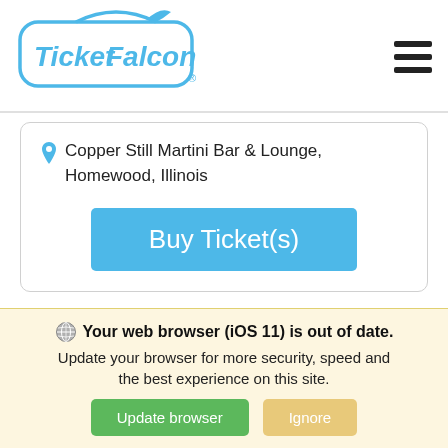[Figure (logo): TicketFalcon logo in blue with stylized falcon and rounded rectangle border]
Copper Still Martini Bar & Lounge, Homewood, Illinois
Buy Ticket(s)
[Figure (logo): Partial TicketFalcon logo visible at bottom of page, blue arc and falcon]
Your web browser (iOS 11) is out of date. Update your browser for more security, speed and the best experience on this site.
Update browser
Ignore